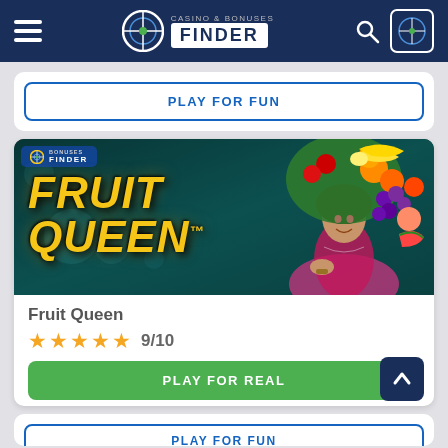Casino & Bonuses Finder
PLAY FOR FUN
[Figure (screenshot): Fruit Queen slot game promotional image showing golden stylized text 'FRUIT QUEEN TM' on dark teal background with illustrated woman wearing fruit headdress]
Fruit Queen
★★★★★ 9/10
PLAY FOR REAL
PLAY FOR FUN